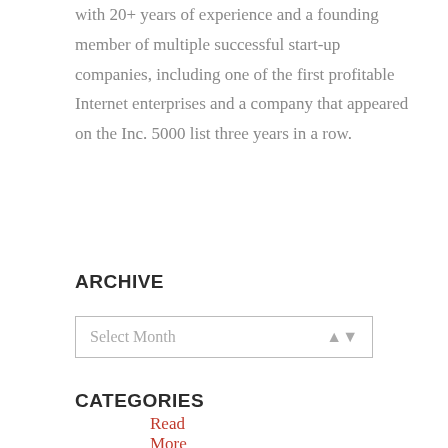with 20+ years of experience and a founding member of multiple successful start-up companies, including one of the first profitable Internet enterprises and a company that appeared on the Inc. 5000 list three years in a row.
Read More
ARCHIVE
Select Month
CATEGORIES